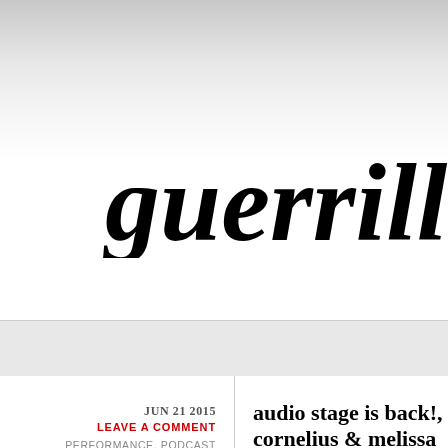guerrilla se
JUN 21 2015
LEAVE A COMMENT
PERFORMANCE, PODCAST
audio stage is back!, cornelius & melissa